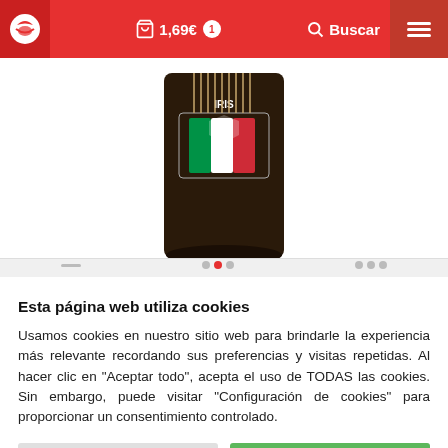1,69€  1  Buscar
[Figure (photo): Product image of IRIS brand pasta/spaghetti package with Italian flag colors (green, white, red) on the label]
Esta página web utiliza cookies
Usamos cookies en nuestro sitio web para brindarle la experiencia más relevante recordando sus preferencias y visitas repetidas. Al hacer clic en "Aceptar todo", acepta el uso de TODAS las cookies. Sin embargo, puede visitar "Configuración de cookies" para proporcionar un consentimiento controlado.
Configuración de cookies    Aceptar todo